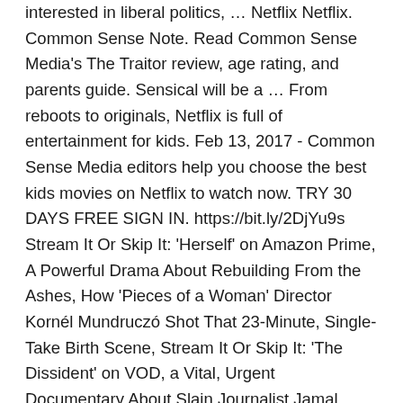interested in liberal politics, … Netflix Netflix. Common Sense Note. Read Common Sense Media's The Traitor review, age rating, and parents guide. Sensical will be a … From reboots to originals, Netflix is full of entertainment for kids. Feb 13, 2017 - Common Sense Media editors help you choose the best kids movies on Netflix to watch now. TRY 30 DAYS FREE SIGN IN. https://bit.ly/2DjYu9s Stream It Or Skip It: 'Herself' on Amazon Prime, A Powerful Drama About Rebuilding From the Ashes, How 'Pieces of a Woman' Director Kornél Mundruczó Shot That 23-Minute, Single-Take Birth Scene, Stream It Or Skip It: 'The Dissident' on VOD, a Vital, Urgent Documentary About Slain Journalist Jamal Khashoggi, Stream It Or Skip It: 'Pretend It's A City' On Netflix, Where Fran Lebowitz's Hilarious Complaints About New York City Are Directed By Martin Scorsese, Stream It Or Skip It: 'Audrey' On VOD, A Documentary That Sheds Light On The Human Side Of Audrey Hepburn, Stream It Or Skip It: